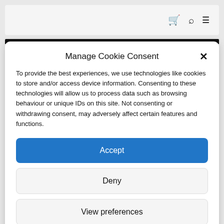[Figure (screenshot): Navigation bar with shopping cart icon, search icon, and hamburger menu icon on light grey background]
Manage Cookie Consent
To provide the best experiences, we use technologies like cookies to store and/or access device information. Consenting to these technologies will allow us to process data such as browsing behaviour or unique IDs on this site. Not consenting or withdrawing consent, may adversely affect certain features and functions.
Accept
Deny
View preferences